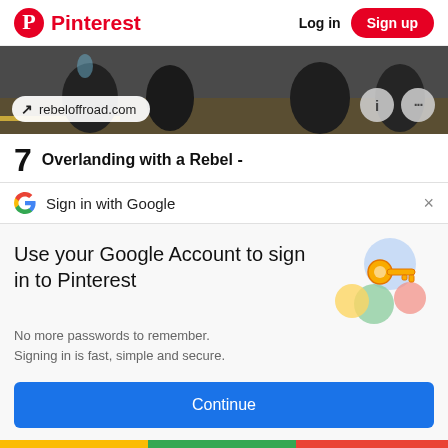Pinterest  Log in  Sign up
[Figure (screenshot): Dark photo showing feet/boots on ground with rebeloffroad.com badge and i and ... icon buttons]
7  Overlanding with a Rebel -
G  Sign in with Google  ×
Use your Google Account to sign in to Pinterest
No more passwords to remember. Signing in is fast, simple and secure.
[Figure (illustration): Google key illustration with colorful circles and a gold key]
Continue